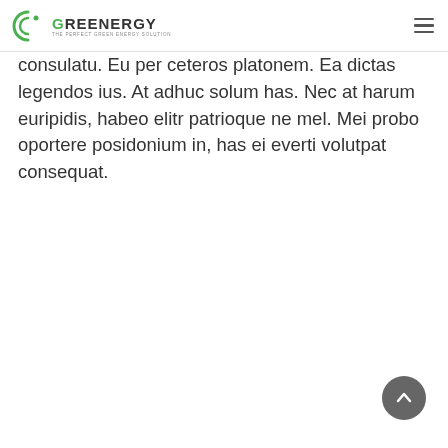GREENERGY — THE PERFECT GREEN ENERGY SOLUTION
consulatu. Eu per ceteros platonem. Ea dictas legendos ius. At adhuc solum has. Nec at harum euripidis, habeo elitr patrioque ne mel. Mei probo oportere posidonium in, has ei everti volutpat consequat.
[Figure (other): Scroll-to-top circular button with upward arrow icon]